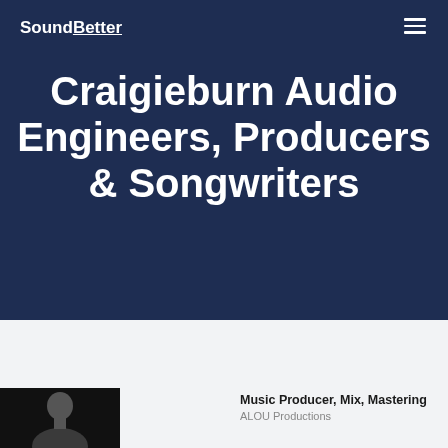SoundBetter
Craigieburn Audio Engineers, Producers & Songwriters
Music Producer, Mix, Mastering
ALOU Productions